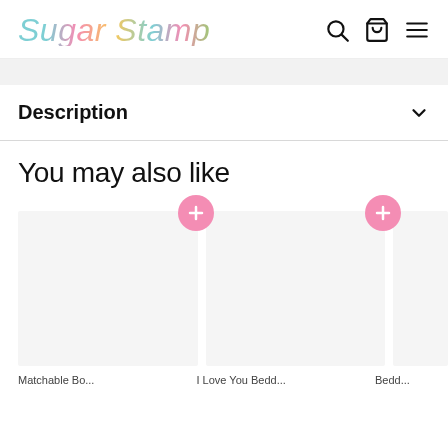Sugar Stamp
Description
You may also like
[Figure (screenshot): Product card 1 placeholder image (light gray background)]
[Figure (screenshot): Product card 2 placeholder image (light gray background)]
[Figure (screenshot): Product card 3 partial placeholder image (light gray background)]
Matchable Bo...
I Love You Bedd...
Bedd...